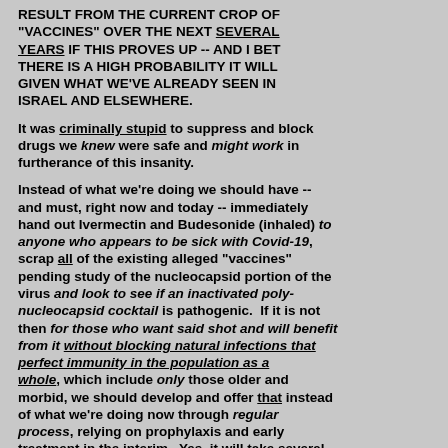RESULT FROM THE CURRENT CROP OF "VACCINES" OVER THE NEXT SEVERAL YEARS IF THIS PROVES UP -- AND I BET THERE IS A HIGH PROBABILITY IT WILL GIVEN WHAT WE'VE ALREADY SEEN IN ISRAEL AND ELSEWHERE.
It was criminally stupid to suppress and block drugs we knew were safe and might work in furtherance of this insanity.
Instead of what we're doing we should have -- and must, right now and today -- immediately hand out Ivermectin and Budesonide (inhaled) to anyone who appears to be sick with Covid-19, scrap all of the existing alleged "vaccines" pending study of the nucleocapsid portion of the virus and look to see if an inactivated poly-nucleocapsid cocktail is pathogenic. If it is not then for those who want said shot and will benefit from it without blocking natural infections that perfect immunity in the population as a whole, which include only those older and morbid, we should develop and offer that instead of what we're doing now through regular process, relying on prophylaxis and early treatment in the interim. Yes, it will take several